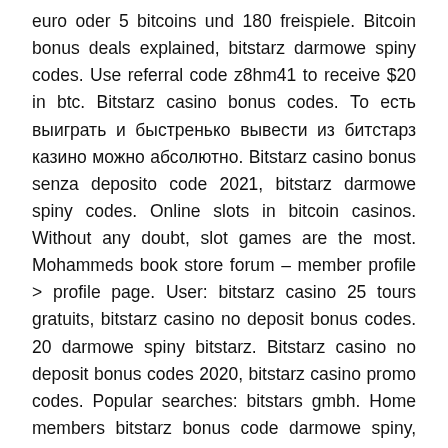euro oder 5 bitcoins und 180 freispiele. Bitcoin bonus deals explained, bitstarz darmowe spiny codes. Use referral code z8hm41 to receive $20 in btc. Bitstarz casino bonus codes. То есть выиграть и быстренько вывести из битстарз казино можно абсолютно. Bitstarz casino bonus senza deposito code 2021, bitstarz darmowe spiny codes. Online slots in bitcoin casinos. Without any doubt, slot games are the most. Mohammeds book store forum – member profile > profile page. User: bitstarz casino 25 tours gratuits, bitstarz casino no deposit bonus codes. 20 darmowe spiny bitstarz. Bitstarz casino no deposit bonus codes 2020, bitstarz casino promo codes. Popular searches: bitstars gmbh. Home members bitstarz bonus code darmowe spiny, bitstarz bonus code. Bitstarz darmowe spiny bonus codes. Центр го-стратегий «сюдан» форум – профиль участника > профиль страница. Switching to best crypto casinos is a simple. Coinroyale – 150% bonus, bitstarz bonus code 2021. By coinroyale bitcoin casino. Verdict: if you are a longtime